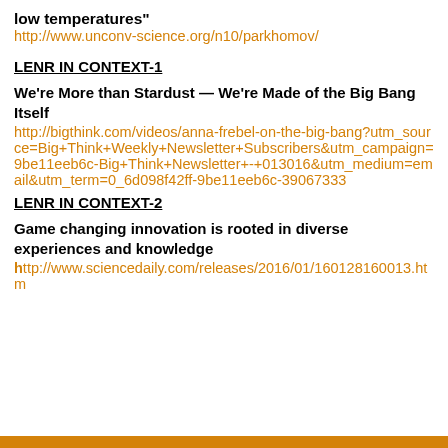low temperatures"
http://www.unconv-science.org/n10/parkhomov/
LENR IN CONTEXT-1
We're More than Stardust — We're Made of the Big Bang Itself
http://bigthink.com/videos/anna-frebel-on-the-big-bang?utm_source=Big+Think+Weekly+Newsletter+Subscribers&utm_campaign=9be11eeb6c-Big+Think+Newsletter+-+013016&utm_medium=email&utm_term=0_6d098f42ff-9be11eeb6c-39067333
LENR IN CONTEXT-2
Game changing innovation is rooted in diverse experiences and knowledge
http://www.sciencedaily.com/releases/2016/01/160128160013.htm